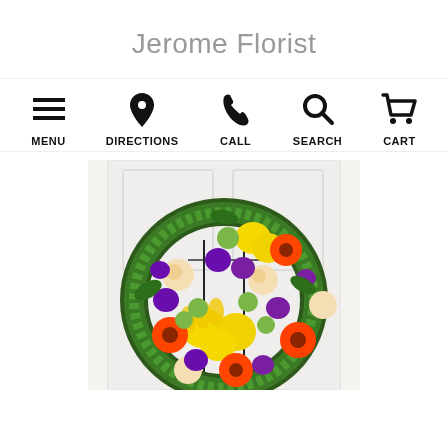Jerome Florist
[Figure (screenshot): Navigation bar with 5 icons: menu (hamburger), directions (map pin), call (phone), search (magnifying glass), cart (shopping cart), each with label below]
[Figure (photo): Colorful floral wreath arrangement featuring yellow lilies, orange gerbera daisies, cream roses, purple lisianthus, and green button mums on a white door background]